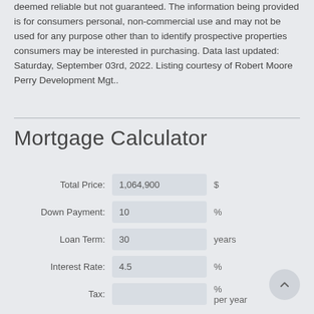deemed reliable but not guaranteed. The information being provided is for consumers personal, non-commercial use and may not be used for any purpose other than to identify prospective properties consumers may be interested in purchasing. Data last updated: Saturday, September 03rd, 2022. Listing courtesy of Robert Moore Perry Development Mgt..
Mortgage Calculator
| Field | Value | Unit |
| --- | --- | --- |
| Total Price: | 1,064,900 | $ |
| Down Payment: | 10 | % |
| Loan Term: | 30 | years |
| Interest Rate: | 4.5 | % |
| Tax: |  | %
per year |